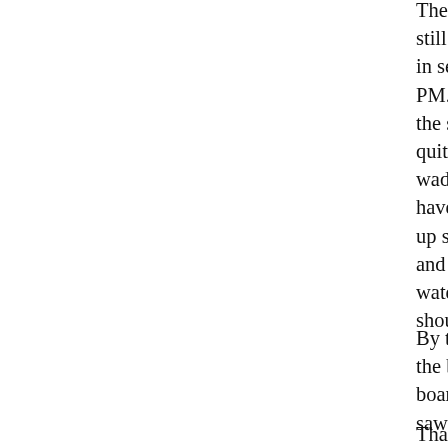There is no fee for the boardwalk anymore, and it is open to all visitor use. There still is no running water but the area is staffed, in season, by knowledgeable volunteers, Mo – Fr, 9AM to 4-4:30 PM. There are no longer any bird feeders but unfortunately the scrub jays have been very sparse. The basin has been quite full and pretty deep for many of the wading birds and also lots of swimmers. In past years, there have been lots of herons, egrets, spoonbills, etc. but until it dries up so we can have some mud flats, we'll have fewer shorebirds and the like. Plus, we have had large groups of ibis. At the water level, we always have a good amount of red-shouldered hawks, sometimes clapper rails,
By the end of Dec. 2010, we will have installed new signs along the boardwalk that will help visitors understand the area, including boards. These signs will include photos of wildlife. Last week, we saw a variety of wildlife such as raccoons,
Thanks to Albert Katz, the Conservancy/Br